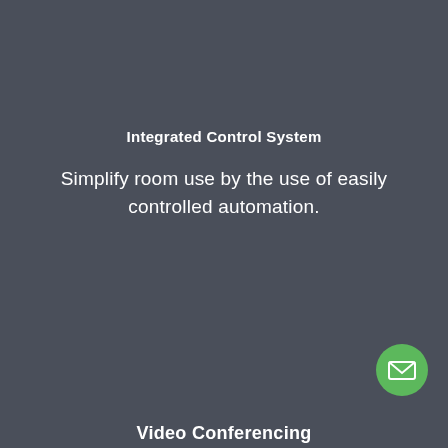Integrated Control System
Simplify room use by the use of easily controlled automation.
[Figure (illustration): Green circular button with white envelope/email icon in the bottom-right corner]
Video Conferencing